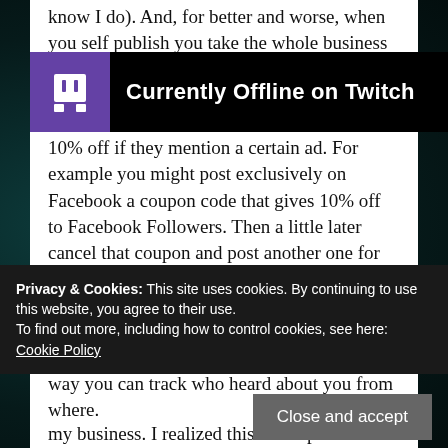know I do).  And, for better and worse,  when you self publish you take the whole business aspect on alone.  Keep track of what is working.  Use different codes for certain coupons so you can track what worked.  Offer 10% off if they mention a certain ad.  For example you might post exclusively on Facebook a coupon code that gives 10% off to Facebook Followers.  Then a little later cancel that coupon and post another one for 10% off to Twitter Followers.  Perhaps you make signed copies only available direct from your site.  Perhaps all your Giveaway contestants get a code for a discount.  This way you can track who heard about you from where.
[Figure (screenshot): Twitch 'Currently Offline on Twitch' banner overlay with Twitch purple logo icon on black background]
Privacy & Cookies: This site uses cookies. By continuing to use this website, you agree to their use.
To find out more, including how to control cookies, see here: Cookie Policy
Close and accept
my business.  I realized this.  Perhaps when I get done